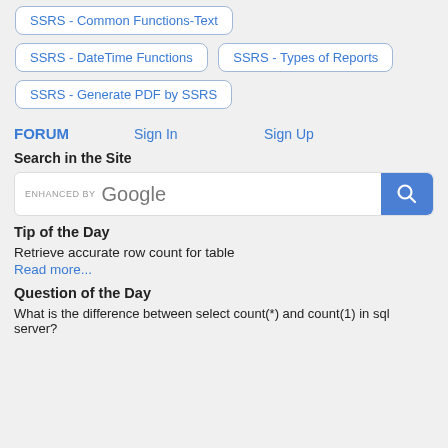SSRS - Common Functions-Text
SSRS - DateTime Functions
SSRS - Types of Reports
SSRS - Generate PDF by SSRS
FORUM    Sign In    Sign Up
Search in the Site
[Figure (other): Search bar with 'enhanced by Google' text and a blue search button with magnifying glass icon]
Tip of the Day
Retrieve accurate row count for table
Read more...
Question of the Day
What is the difference between select count(*) and count(1) in sql server?